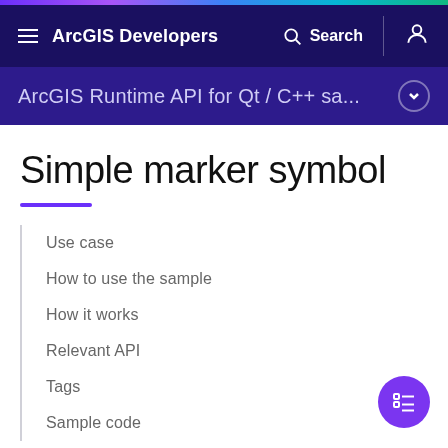ArcGIS Developers
ArcGIS Runtime API for Qt / C++ sa...
Simple marker symbol
Use case
How to use the sample
How it works
Relevant API
Tags
Sample code
Show table of contents